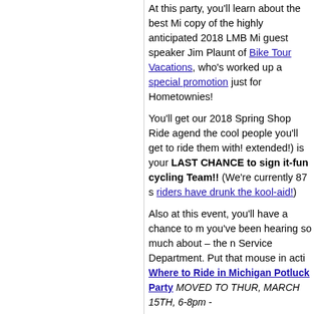At this party, you'll learn about the best Mi copy of the highly anticipated 2018 LMB Mi guest speaker Jim Plaunt of Bike Tour Vacations, who's worked up a special promotion just for Hometownies!
You'll get our 2018 Spring Shop Ride agenda the cool people you'll get to ride them with! extended!) is your LAST CHANCE to sign it-fun cycling Team!! (We're currently 87 s riders have drunk the kool-aid!)
Also at this event, you'll have a chance to m you've been hearing so much about – the n Service Department. Put that mouse in acti Where to Ride in Michigan Potluck Party MOVED TO THUR, MARCH 15TH, 6-8pm -
[Figure (photo): Indoor photo of a bike shop event space with green walls, overhead lighting, shelving with bikes/equipment, TV screens mounted on wall, and people gathered at the bottom of the frame.]